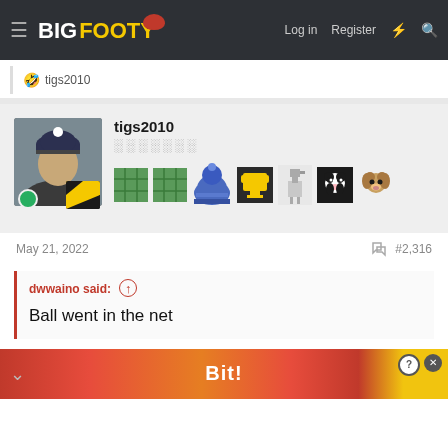BigFooty — Log in | Register
🤣 tigs2010
tigs2010
░░░░░░░
May 21, 2022  #2,316
dwwaino said: ↑

Ball went in the net
[Figure (screenshot): Advertisement banner with red/orange/yellow background and text 'Bit!']